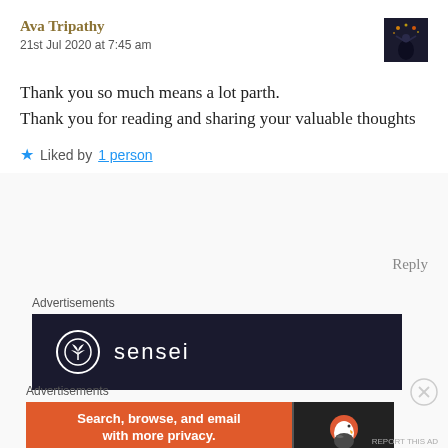Ava Tripathy
21st Jul 2020 at 7:45 am
Thank you so much means a lot parth.
Thank you for reading and sharing your valuable thoughts
★ Liked by 1 person
Reply
Advertisements
[Figure (screenshot): Sensei advertisement banner — dark navy background with white circle tree logo and 'sensei' text in white]
Advertisements
[Figure (screenshot): DuckDuckGo advertisement — orange left panel with 'Search, browse, and email with more privacy. All in One Free App' and dark right panel with DuckDuckGo duck logo]